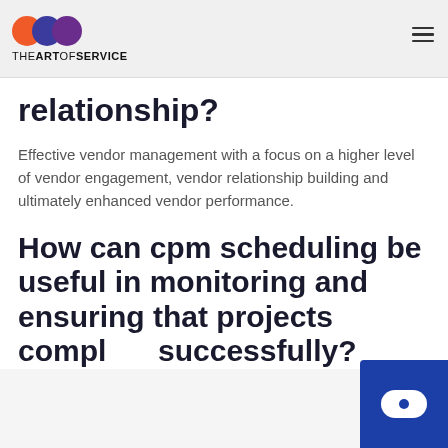THE ART OF SERVICE
relationship?
Effective vendor management with a focus on a higher level of vendor engagement, vendor relationship building and ultimately enhanced vendor performance.
How can cpm scheduling be useful in monitoring and ensuring that projects compl… successfully?